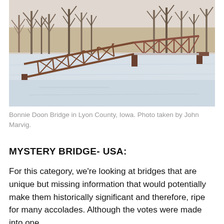[Figure (photo): A collapsed or heavily damaged old steel truss railroad bridge lying partially on a snow-covered frozen river or field, with bare winter trees in the background. The bridge structure is rusty brown/red metal. The scene is a winter landscape under a pale gray sky.]
Bonnie Doon Bridge in Lyon County, Iowa. Photo taken by John Marvig.
MYSTERY BRIDGE- USA:
For this category, we’re looking at bridges that are unique but missing information that would potentially make them historically significant and therefore, ripe for many accolades. Although the votes were made into one